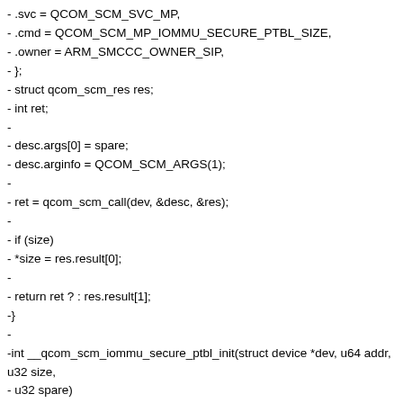- .svc = QCOM_SCM_SVC_MP,
- .cmd = QCOM_SCM_MP_IOMMU_SECURE_PTBL_SIZE,
- .owner = ARM_SMCCC_OWNER_SIP,
- };
- struct qcom_scm_res res;
- int ret;
-
- desc.args[0] = spare;
- desc.arginfo = QCOM_SCM_ARGS(1);
-
- ret = qcom_scm_call(dev, &desc, &res);
-
- if (size)
- *size = res.result[0];
-
- return ret ? : res.result[1];
-}
-
-int __qcom_scm_iommu_secure_ptbl_init(struct device *dev, u64 addr, u32 size,
- u32 spare)
-{
- struct qcom_scm_desc desc = {
- .svc = QCOM_SCM_SVC_MP,
- .cmd = QCOM_SCM_MP_IOMMU_SECURE_PTBL_INIT,
- .owner = ARM_SMCCC_OWNER_SIP,